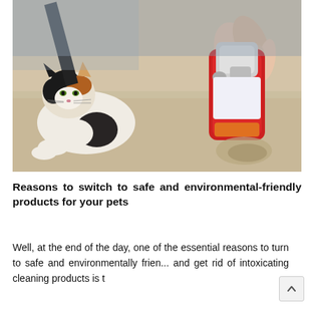[Figure (photo): A calico cat lying on a light-colored carpet looking toward a person's hand holding a red spray bottle, cleaning a stain on the carpet.]
Reasons to switch to safe and environmental-friendly products for your pets
Well, at the end of the day, one of the essential reasons to turn to safe and environmentally frien... and get rid of intoxicating cleaning products is t...